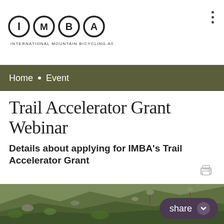[Figure (logo): IMBA logo with four circles containing letters I, M, B, A and text INTERNATIONAL MOUNTAIN BICYCLING ASSOCIATION below]
Home • Event
Trail Accelerator Grant Webinar
Details about applying for IMBA's Trail Accelerator Grant
[Figure (photo): Aerial view of a steep green hillside covered with shrubs and sparse trees, a mountain biking trail visible winding through the landscape]